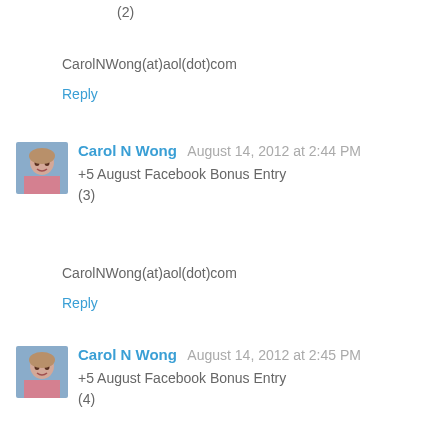(2)
CarolNWong(at)aol(dot)com
Reply
Carol N Wong  August 14, 2012 at 2:44 PM
+5 August Facebook Bonus Entry
(3)
CarolNWong(at)aol(dot)com
Reply
Carol N Wong  August 14, 2012 at 2:45 PM
+5 August Facebook Bonus Entry
(4)